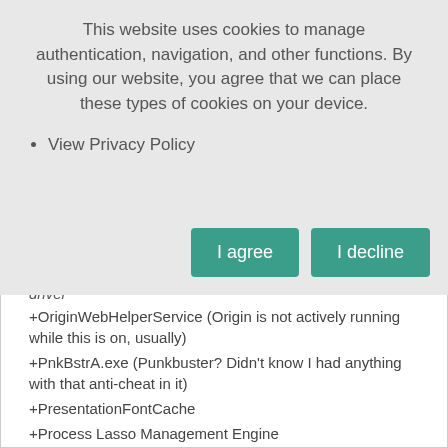This website uses cookies to manage authentication, navigation, and other functions. By using our website, you agree that we can place these types of cookies on your device.
View Privacy Policy
I agree
I decline
driver
+OriginWebHelperService (Origin is not actively running while this is on, usually)
+PnkBstrA.exe (Punkbuster? Didn't know I had anything with that anti-cheat in it)
+PresentationFontCache
+Process Lasso Management Engine
+Process Lasso User Interface
+Realtek HD Audio manager
+Cortana (3-process group)